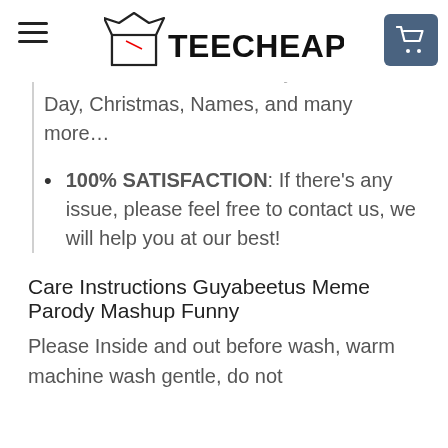TEECHEAPUS
Birthday, Valentines Day, Father's Day, Mother's Day, Thanksgiving Day, Christmas, Names, and many more…
100% SATISFACTION: If there's any issue, please feel free to contact us, we will help you at our best!
Care Instructions Guyabeetus Meme Parody Mashup Funny
Please Inside and out before wash, warm machine wash gentle, do not